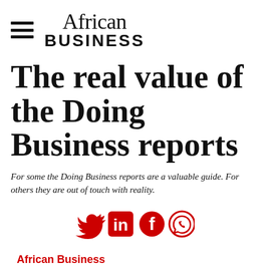African Business
The real value of the Doing Business reports
For some the Doing Business reports are a valuable guide. For others they are out of touch with reality.
[Figure (illustration): Social media share icons: Twitter, LinkedIn, Facebook, WhatsApp — in red]
African Business